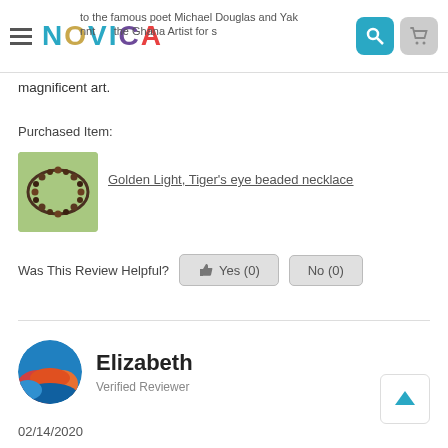NOVICA
magnificent art.
Purchased Item:
[Figure (photo): Thumbnail image of a beaded necklace product]
Golden Light, Tiger's eye beaded necklace
Was This Review Helpful?  Yes (0)  No (0)
Elizabeth
Verified Reviewer
02/14/2020
"Rich stone and lovely design"
★★★★★